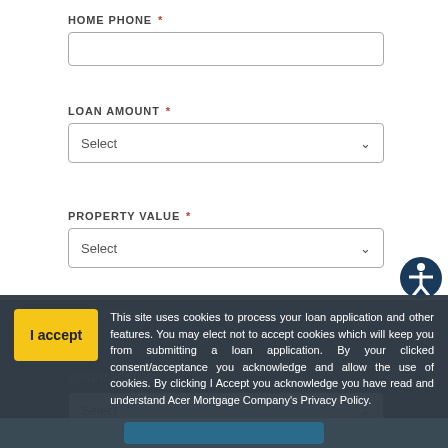HOME PHONE *
(empty phone input field)
LOAN AMOUNT *
Select (dropdown)
PROPERTY VALUE *
Select (dropdown)
LOAN TYPE *
CREDIT HISTORY *
Select (dropdown)
This site uses cookies to process your loan application and other features. You may elect not to accept cookies which will keep you from submitting a loan application. By your clicked consent/acceptance you acknowledge and allow the use of cookies. By clicking I Accept you acknowledge you have read and understand Acer Mortgage Company's Privacy Policy.